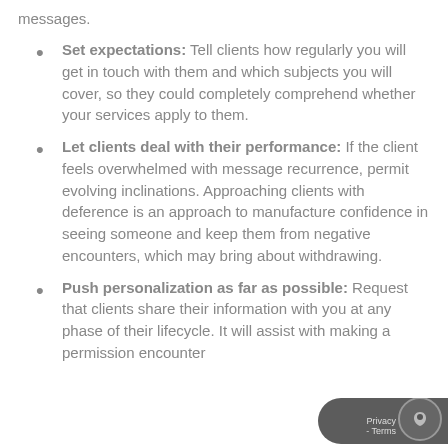messages.
Set expectations: Tell clients how regularly you will get in touch with them and which subjects you will cover, so they could completely comprehend whether your services apply to them.
Let clients deal with their performance: If the client feels overwhelmed with message recurrence, permit evolving inclinations. Approaching clients with deference is an approach to manufacture confidence in seeing someone and keep them from negative encounters, which may bring about withdrawing.
Push personalization as far as possible: Request that clients share their information with you at any phase of their lifecycle. It will assist with making a permission encounter